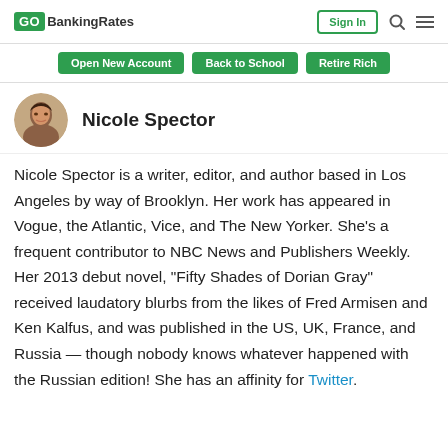GO BankingRates | Sign In
Open New Account | Back to School | Retire Rich
Nicole Spector
Nicole Spector is a writer, editor, and author based in Los Angeles by way of Brooklyn. Her work has appeared in Vogue, the Atlantic, Vice, and The New Yorker. She's a frequent contributor to NBC News and Publishers Weekly. Her 2013 debut novel, "Fifty Shades of Dorian Gray" received laudatory blurbs from the likes of Fred Armisen and Ken Kalfus, and was published in the US, UK, France, and Russia — though nobody knows whatever happened with the Russian edition! She has an affinity for Twitter.